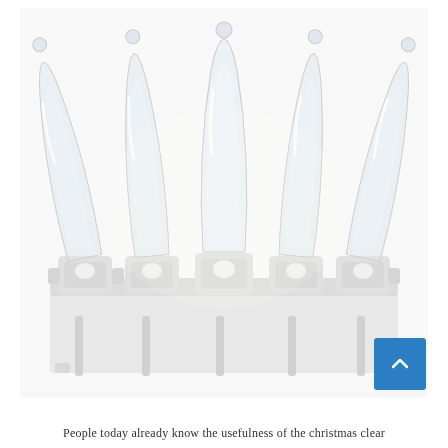[Figure (photo): Close-up photograph of five clear mini Christmas light bulbs with white plastic bases/sockets. The bulbs are transparent elongated glass with small round tips, mounted on white wire connectors. The background is white.]
People today already know the usefulness of the christmas clear